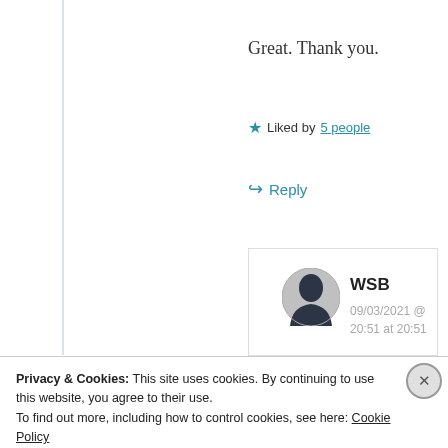Great. Thank you.
★ Liked by 5 people
↪ Reply
[Figure (illustration): User avatar silhouette circle for WSB]
WSB
09/03/2021 @ 20:51 at 20:51
Privacy & Cookies: This site uses cookies. By continuing to use this website, you agree to their use. To find out more, including how to control cookies, see here: Cookie Policy
Close and accept